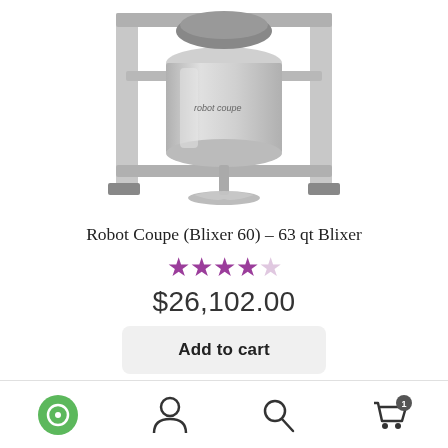[Figure (photo): Robot Coupe Blixer 60 commercial food processing blixer machine on stainless steel stand with bowl and blade attachment visible]
Robot Coupe (Blixer 60) – 63 qt Blixer
[Figure (other): 4 out of 5 stars rating shown with 4 filled purple stars and 1 empty/light star]
$26,102.00
Add to cart
Navigation bar with chat, account, search, and cart (1 item) icons